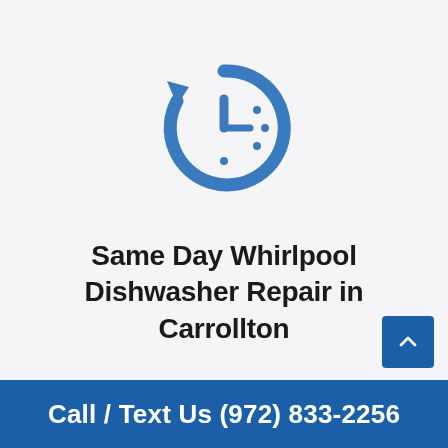[Figure (illustration): Blue clock with circular arrow icon representing same-day service]
Same Day Whirlpool Dishwasher Repair in Carrollton
Call / Text Us (972) 833-2256